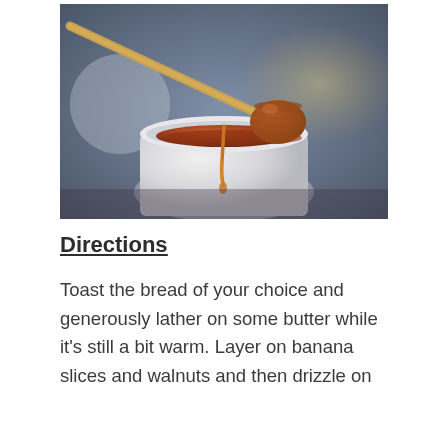[Figure (photo): Close-up photo of a honey dipper drizzling honey into a white ceramic jar, with blurred background]
Directions
Toast the bread of your choice and generously lather on some butter while it’s still a bit warm. Layer on banana slices and walnuts and then drizzle on